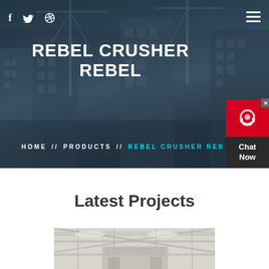[Figure (photo): Hero background image showing construction site with cranes and buildings under a dark blue sky]
f  Twitter  Dribbble  ≡
REBEL CRUSHER REBEL
HOME  //  PRODUCTS  //  REBEL CRUSHER REB
[Figure (infographic): Chat Now widget in right corner with red icon area and dark background]
Latest Projects
[Figure (photo): Industrial construction interior image showing structural beams and equipment]